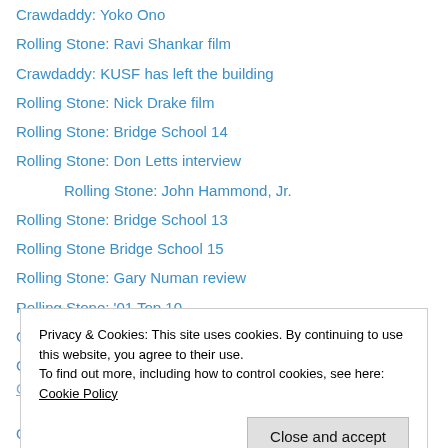Crawdaddy: Yoko Ono
Rolling Stone: Ravi Shankar film
Crawdaddy: KUSF has left the building
Rolling Stone: Nick Drake film
Rolling Stone: Bridge School 14
Rolling Stone: Don Letts interview
Rolling Stone: John Hammond, Jr.
Rolling Stone: Bridge School 13
Rolling Stone Bridge School 15
Rolling Stone: Gary Numan review
Rolling Stone: '01 Top 10
Crawdaddy: Dexy's Midnight Runners
Crawdaddy: A Collector's Cry For Help
Crawdaddy: John Sinclair interview
Privacy & Cookies: This site uses cookies. By continuing to use this website, you agree to their use. To find out more, including how to control cookies, see here: Cookie Policy
Origin of Song: Don't Bring Me Down